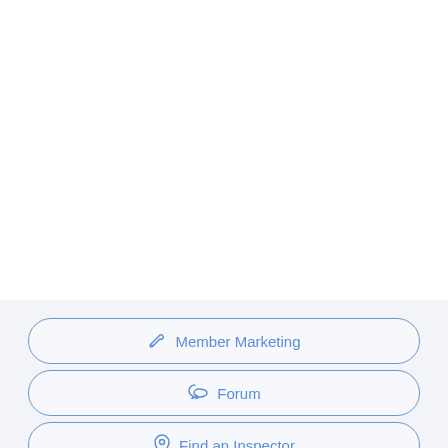Member Marketing
Forum
Find an Inspector